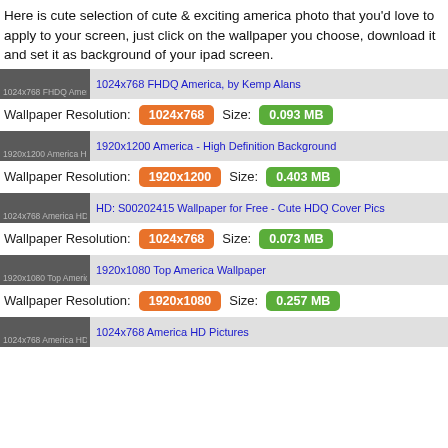Here is cute selection of cute & exciting america photo that you'd love to apply to your screen, just click on the wallpaper you choose, download it and set it as background of your ipad screen.
[Figure (screenshot): Wallpaper thumbnail row: 1024x768 FHDO Ameri... | 1024x768 FHDQ America, by Kemp Alans]
Wallpaper Resolution: 1024x768   Size: 0.093 MB
[Figure (screenshot): Wallpaper thumbnail row: 1920x1200 America H... | 1920x1200 America - High Definition Background]
Wallpaper Resolution: 1920x1200   Size: 0.403 MB
[Figure (screenshot): Wallpaper thumbnail row: 1024x768 America HD... | HD: S00202415 Wallpaper for Free - Cute HDQ Cover Pics]
Wallpaper Resolution: 1024x768   Size: 0.073 MB
[Figure (screenshot): Wallpaper thumbnail row: 1920x1080 Top Americ... | 1920x1080 Top America Wallpaper]
Wallpaper Resolution: 1920x1080   Size: 0.257 MB
[Figure (screenshot): Wallpaper thumbnail row: 1024x768 America HD ... | 1024x768 America HD Pictures]